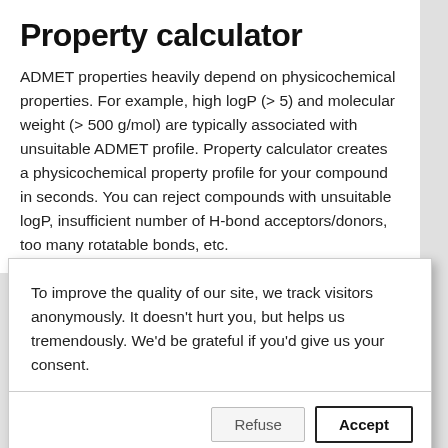Property calculator
ADMET properties heavily depend on physicochemical properties. For example, high logP (> 5) and molecular weight (> 500 g/mol) are typically associated with unsuitable ADMET profile. Property calculator creates a physicochemical property profile for your compound in seconds. You can reject compounds with unsuitable logP, insufficient number of H-bond acceptors/donors, too many rotatable bonds, etc.
To improve the quality of our site, we track visitors anonymously. It doesn't hurt you, but helps us tremendously. We'd be grateful if you'd give us your consent.